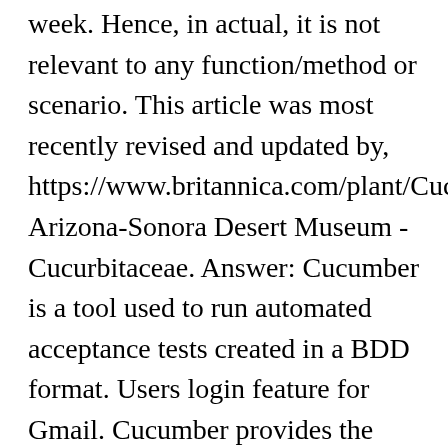week. Hence, in actual, it is not relevant to any function/method or scenario. This article was most recently revised and updated by, https://www.britannica.com/plant/Cucurbitaceae Arizona-Sonora Desert Museum - Cucurbitaceae. Answer: Cucumber is a tool used to run automated acceptance tests created in a BDD format. Users login feature for Gmail. Cucumber provides the ability to supply hooks to modify the behavior of executing features. To work with Cucumber, you would need three types of files as described below: Feature File – It servers as an entry point to the Cucumber tests. Few basic features can be determined as – Create and remove the user from the social networking